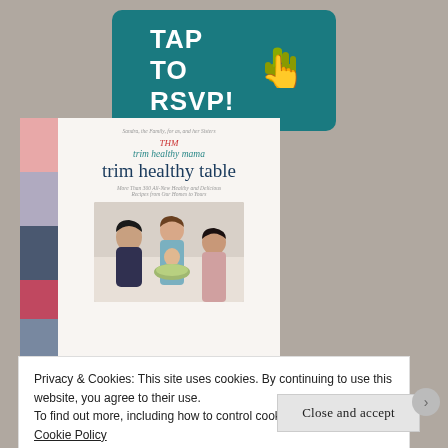[Figure (other): Teal rounded rectangle button with bold white text TAP TO RSVP! and a pointing hand cursor icon in olive/yellow-green]
[Figure (photo): Book cover of 'trim healthy table' cookbook showing title text and photo of women at a table with food]
Privacy & Cookies: This site uses cookies. By continuing to use this website, you agree to their use.
To find out more, including how to control cookies, see here: Our Cookie Policy
Close and accept